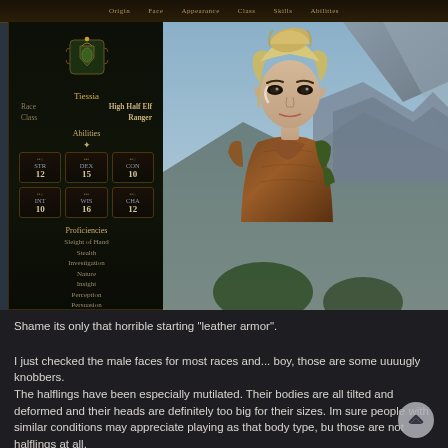[Figure (screenshot): Baldur's Gate 3 character creation screen showing a High Half-Elf Ranger named Tiessia with blonde hair styled up, wearing leather armor, with a mountainous background. Left panel shows character stats: STR 12, DEX 15, CON 10, INT 10, WIS 16, CHA 12. Proficiencies listed: Sleight of Hand, Stealth, Investigation, Nature, Insight, Perception, Persuasion. Top navigation bar shows: Origin, Face, Appearance, Class, Skills, Abilities.]
Shame its only that horrible starting "leather armor".
I just checked the male faces for most races and... boy, those are some uuuugly knobbers.
The halflings have been especially mutilated. Their bodies are all tilted and deformed and their heads are definitely too big for their sizes. Im sure people with similar conditions may appreciate playing as that body type, but those are not halflings at all.